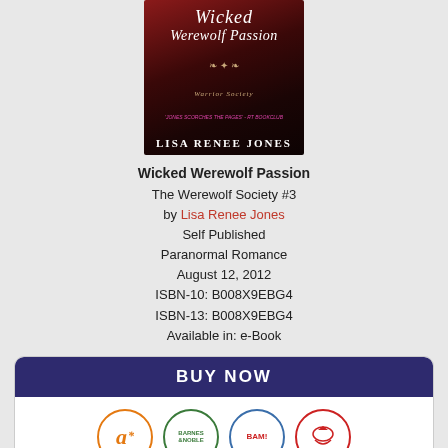[Figure (illustration): Book cover for 'Wicked Werewolf Passion' by Lisa Renee Jones, part of The Werewolf Society series. Dark red and black cover with title text in white italic serif font and author name at bottom.]
Wicked Werewolf Passion
The Werewolf Society #3
by Lisa Renee Jones
Self Published
Paranormal Romance
August 12, 2012
ISBN-10: B008X9EBG4
ISBN-13: B008X9EBG4
Available in: e-Book
[Figure (infographic): BUY NOW button in dark navy blue, followed by retailer icons: Amazon (with asterisk), Barnes & Noble, BAM!, and one more retailer, arranged in a rounded white card.]
*affiliate link
Wicked Werewolf Passion